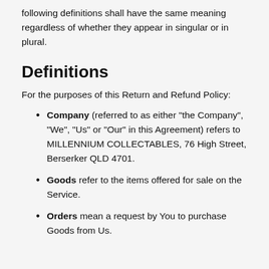following definitions shall have the same meaning regardless of whether they appear in singular or in plural.
Definitions
For the purposes of this Return and Refund Policy:
Company (referred to as either "the Company", "We", "Us" or "Our" in this Agreement) refers to MILLENNIUM COLLECTABLES, 76 High Street, Berserker QLD 4701.
Goods refer to the items offered for sale on the Service.
Orders mean a request by You to purchase Goods from Us.